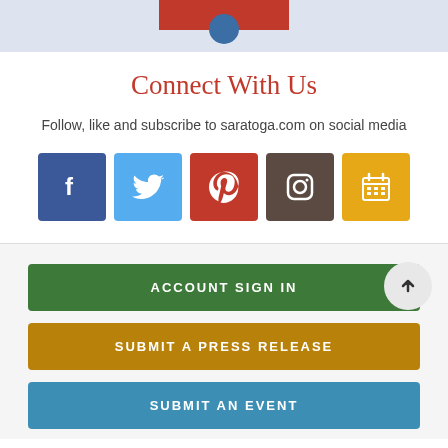[Figure (screenshot): Top banner area with light blue-grey background and a red partial element visible at top center]
Connect With Us
Follow, like and subscribe to saratoga.com on social media
[Figure (infographic): Row of 5 social media icons: Facebook (blue), Twitter (light blue), Pinterest (red), Instagram (dark brown), Calendar/Events (gold/orange)]
ACCOUNT SIGN IN
SUBMIT A PRESS RELEASE
SUBMIT AN EVENT